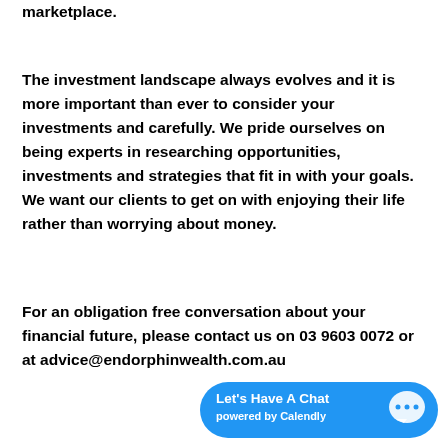marketplace.
The investment landscape always evolves and it is more important than ever to consider your investments and carefully. We pride ourselves on being experts in researching opportunities, investments and strategies that fit in with your goals. We want our clients to get on with enjoying their life rather than worrying about money.
For an obligation free conversation about your financial future, please contact us on 03 9603 0072 or at advice@endorphinwealth.com.au
[Figure (other): Blue rounded button with white text reading 'Let's Have A Chat' and 'powered by Calendly', with a speech bubble chat icon on the right side.]